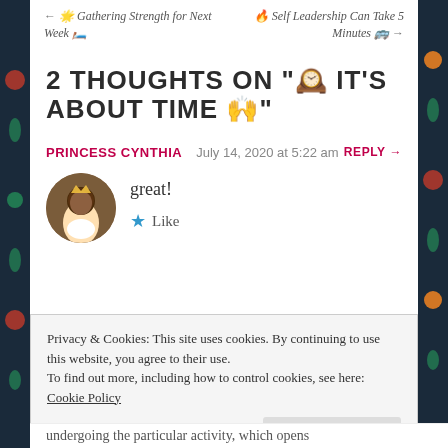← 🌟 Gathering Strength for Next Week 🛏️    🔥 Self Leadership Can Take 5 Minutes 🚌 →
2 THOUGHTS ON " 🕰️ IT'S ABOUT TIME 🙌"
PRINCESS CYNTHIA    July 14, 2020 at 5:22 am    REPLY →
great!
★ Like
Privacy & Cookies: This site uses cookies. By continuing to use this website, you agree to their use.
To find out more, including how to control cookies, see here: Cookie Policy
Close and accept
undergoing the particular activity, which opens